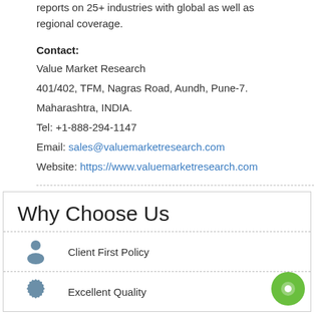reports on 25+ industries with global as well as regional coverage.
Contact:
Value Market Research
401/402, TFM, Nagras Road, Aundh, Pune-7.
Maharashtra, INDIA.
Tel: +1-888-294-1147
Email: sales@valuemarketresearch.com
Website: https://www.valuemarketresearch.com
Why Choose Us
Client First Policy
Excellent Quality